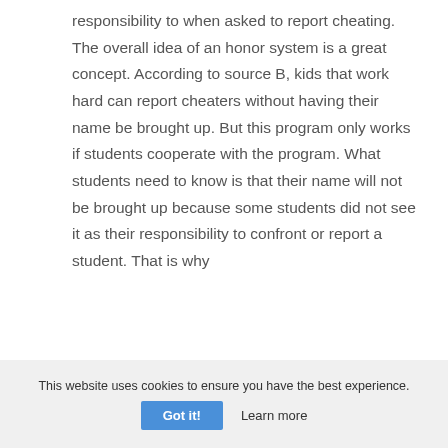responsibility to when asked to report cheating. The overall idea of an honor system is a great concept. According to source B, kids that work hard can report cheaters without having their name be brought up. But this program only works if students cooperate with the program. What students need to know is that their name will not be brought up because some students did not see it as their responsibility to confront or report a student. That is why
This website uses cookies to ensure you have the best experience. Got it! Learn more